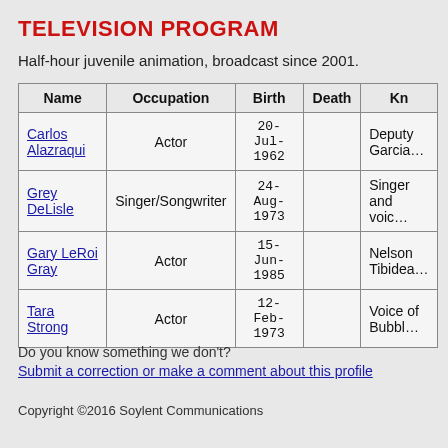TELEVISION PROGRAM
Half-hour juvenile animation, broadcast since 2001.
| Name | Occupation | Birth | Death | Kn… |
| --- | --- | --- | --- | --- |
| Carlos Alazraqui | Actor | 20-Jul-1962 |  | Deputy Garcia… |
| Grey DeLisle | Singer/Songwriter | 24-Aug-1973 |  | Singer and voic… |
| Gary LeRoi Gray | Actor | 15-Jun-1985 |  | Nelson Tibidea… |
| Tara Strong | Actor | 12-Feb-1973 |  | Voice of Bubbl… |
Do you know something we don't?
Submit a correction or make a comment about this profile
Copyright ©2016 Soylent Communications